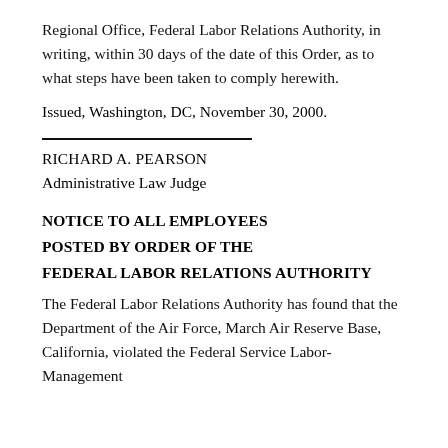Regional Office, Federal Labor Relations Authority, in writing, within 30 days of the date of this Order, as to what steps have been taken to comply herewith.
Issued, Washington, DC, November 30, 2000.
RICHARD A. PEARSON
Administrative Law Judge
NOTICE TO ALL EMPLOYEES
POSTED BY ORDER OF THE
FEDERAL LABOR RELATIONS AUTHORITY
The Federal Labor Relations Authority has found that the Department of the Air Force, March Air Reserve Base, California, violated the Federal Service Labor-Management